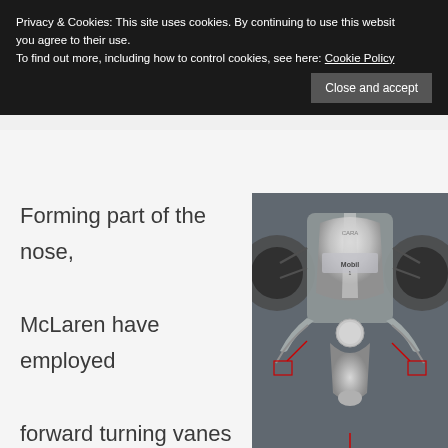Privacy & Cookies: This site uses cookies. By continuing to use this website, you agree to their use.
To find out more, including how to control cookies, see here: Cookie Policy
Close and accept
[Figure (photo): Close-up front view of a McLaren Formula 1 car nose cone showing the turning vanes drooping below, with red annotations/arrows pointing to aerodynamic features. Silver metallic finish with Mobil 1 branding visible.]
Forming part of the nose, McLaren have employed forward turning vanes that droop midway below the nose,